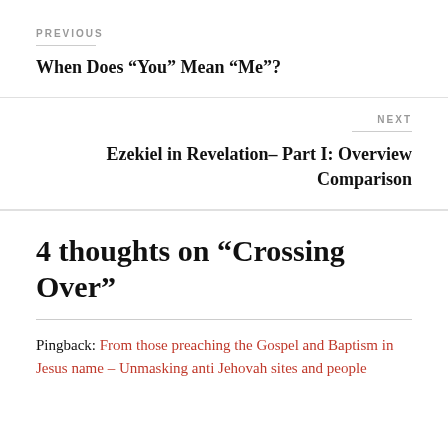PREVIOUS
When Does “You” Mean “Me”?
NEXT
Ezekiel in Revelation– Part I: Overview Comparison
4 thoughts on “Crossing Over”
Pingback: From those preaching the Gospel and Baptism in Jesus name – Unmasking anti Jehovah sites and people